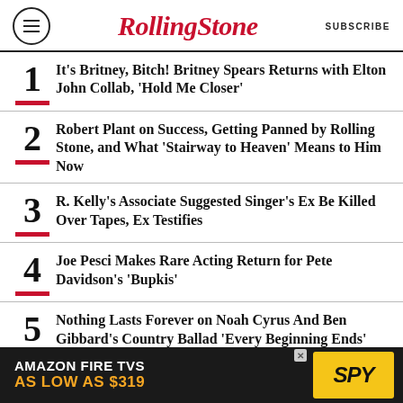Rolling Stone | SUBSCRIBE
1 It's Britney, Bitch! Britney Spears Returns with Elton John Collab, 'Hold Me Closer'
2 Robert Plant on Success, Getting Panned by Rolling Stone, and What 'Stairway to Heaven' Means to Him Now
3 R. Kelly's Associate Suggested Singer's Ex Be Killed Over Tapes, Ex Testifies
4 Joe Pesci Makes Rare Acting Return for Pete Davidson's 'Bupkis'
5 Nothing Lasts Forever on Noah Cyrus And Ben Gibbard's Country Ballad 'Every Beginning Ends'
[Figure (other): Amazon Fire TVs advertisement banner: 'AMAZON FIRE TVS AS LOW AS $319' with SPY logo]